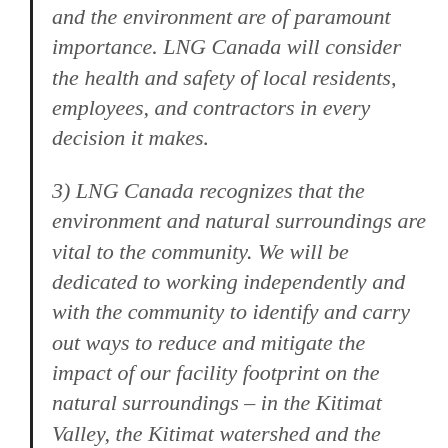and the environment are of paramount importance. LNG Canada will consider the health and safety of local residents, employees, and contractors in every decision it makes.
3) LNG Canada recognizes that the environment and natural surroundings are vital to the community. We will be dedicated to working independently and with the community to identify and carry out ways to reduce and mitigate the impact of our facility footprint on the natural surroundings – in the Kitimat Valley, the Kitimat watershed and the Kitimat airshed.